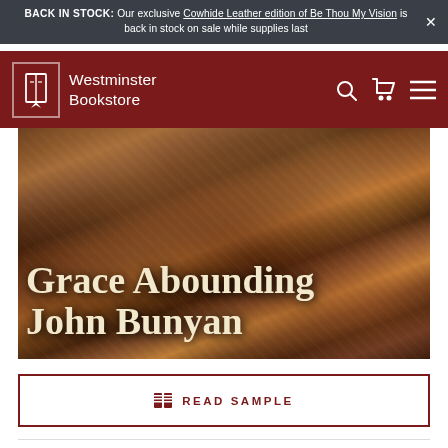BACK IN STOCK: Our exclusive Cowhide Leather edition of Be Thou My Vision is back in stock on sale while supplies last
[Figure (logo): Westminster Bookstore logo with navigation bar showing search, cart, and menu icons on dark red background]
[Figure (photo): Book cover for 'Grace Abounding' by John Bunyan, showing an aerial view of a complex scene with the book title in large serif font]
READ SAMPLE